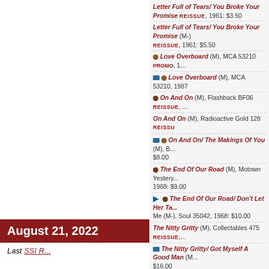Letter Full of Tears/ You Broke Your Promise REISSUE, 1961: $3.50
Letter Full of Tears/ You Broke Your Promise (M-) REISSUE, 1961: $5.50
Love Overboard (M), MCA 53210 PROMO, 1...
Love Overboard (M), MCA 53210, 1987
On And On (M), Flashback BF06 REISSUE, ...
On And On (M), Radioactive Gold 128 REISSUE
On And On/ The Makings Of You (M), B... $8.00
The End Of Our Road (M), Motown Yesterday... 1968: $9.00
The End Of Our Road/ Don't Let Her Take Me (M-), Soul 35042, 1968: $10.00
The Nitty Gritty (M), Collectables 475 REISSUE, ...
The Nitty Gritty/ Got Myself A Good Man (M... $16.00
The One And Only/ Pipe Dreams (M-), Buddah
The Way We Were-Try To Remember/ T... Buddah 463, 1975: $12.00
Where Peaceful Waters Flow/ Perfect L... 1973: $12.00
You Need Love Like I Do (Don't You?) (M), ... 478 REISSUE, 1970: $6.50
If you like this kind of music, take a listen to
5-10-15-20 (25-30 Years Of Love)/ I'm Still... Presidents (M-), Sussex 207, 1970: $15.00
Any Time Is Right/ Without You by Archie B... 1981: $10.00
Are We Breaking Up/ We're Together by Jo...
August 21, 2022
Last SSI R...